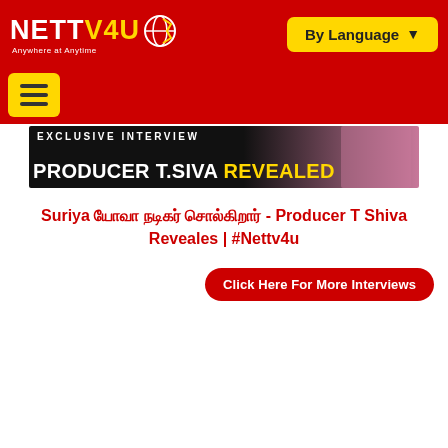NETTV4U — Anywhere at Anytime | By Language
[Figure (screenshot): NETTV4U website header with red background, white and yellow logo text, and yellow 'By Language' dropdown button]
[Figure (photo): Banner image showing EXCLUSIVE INTERVIEW - PRODUCER T.SIVA REVEALED text over dark background with person in pink jacket]
Suriya யோவா நடிகர் சொல்கிறார் - Producer T Shiva Reveales | #Nettv4u
Click Here For More Interviews